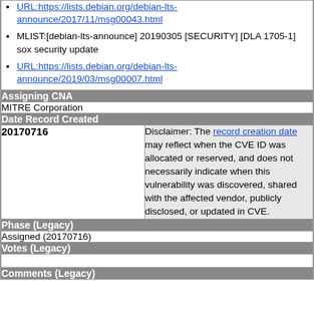URL:https://lists.debian.org/debian-lts-announce/2017/11/msg00043.html
MLIST:[debian-lts-announce] 20190305 [SECURITY] [DLA 1705-1] sox security update
URL:https://lists.debian.org/debian-lts-announce/2019/03/msg00007.html
Assigning CNA
MITRE Corporation
Date Record Created
| 20170716 | Disclaimer: The record creation date may reflect when the CVE ID was allocated or reserved, and does not necessarily indicate when this vulnerability was discovered, shared with the affected vendor, publicly disclosed, or updated in CVE. |
Phase (Legacy)
Assigned (20170716)
Votes (Legacy)
Comments (Legacy)